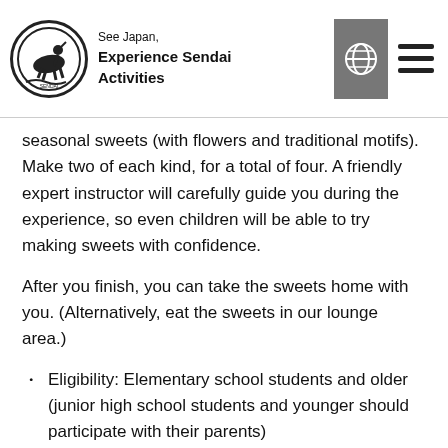See Japan, Experience Sendai Activities
seasonal sweets (with flowers and traditional motifs). Make two of each kind, for a total of four. A friendly expert instructor will carefully guide you during the experience, so even children will be able to try making sweets with confidence.
After you finish, you can take the sweets home with you. (Alternatively, eat the sweets in our lounge area.)
Eligibility: Elementary school students and older (junior high school students and younger should participate with their parents)
Number of participants: 2-4 people